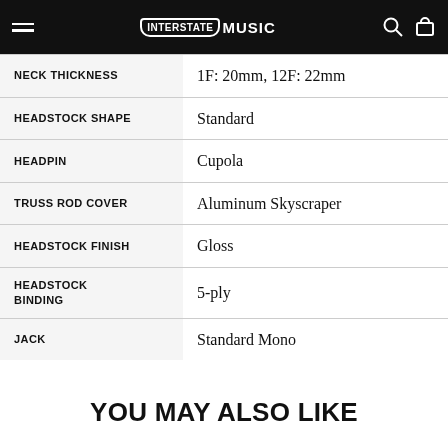Interstate Music
| NECK THICKNESS | 1F: 20mm, 12F: 22mm |
| HEADSTOCK SHAPE | Standard |
| HEADPIN | Cupola |
| TRUSS ROD COVER | Aluminum Skyscraper |
| HEADSTOCK FINISH | Gloss |
| HEADSTOCK BINDING | 5-ply |
| JACK | Standard Mono |
YOU MAY ALSO LIKE